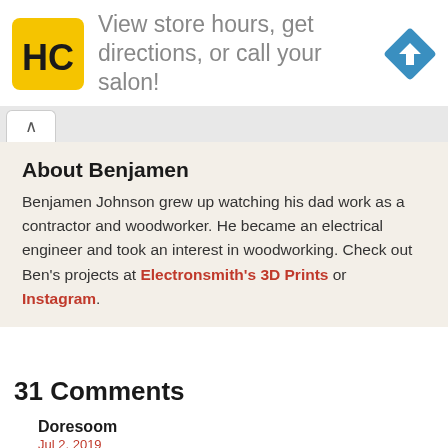[Figure (infographic): Advertisement banner with HC logo (yellow square with HC letters in black), text 'View store hours, get directions, or call your salon!' and a blue diamond-shaped direction arrow icon on the right.]
About Benjamen
Benjamen Johnson grew up watching his dad work as a contractor and woodworker. He became an electrical engineer and took an interest in woodworking. Check out Ben's projects at Electronsmith's 3D Prints or Instagram.
31 Comments
Doresoom
Jul 2, 2019
I thought their sound level test at NPS19 was a little